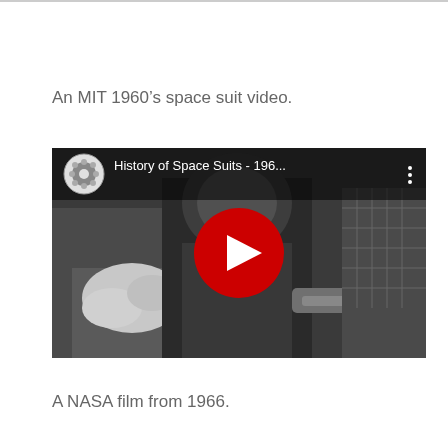An MIT 1960’s space suit video.
[Figure (screenshot): YouTube video thumbnail showing black and white footage of people working with a space suit. Title reads 'History of Space Suits - 196...' with a YouTube play button overlay (red circle with white triangle). A film reel icon appears in the top-left corner.]
A NASA film from 1966.